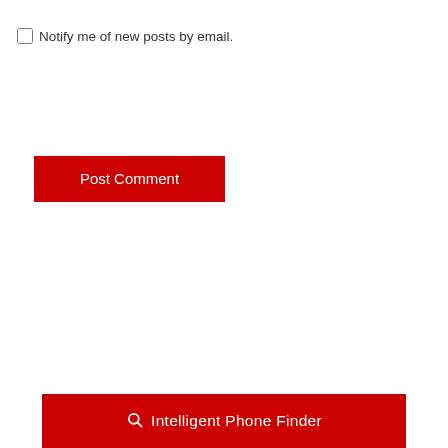Notify me of new posts by email.
Post Comment
Intelligent Phone Finder